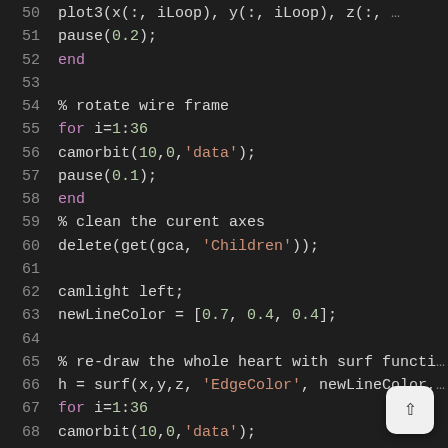Code listing lines 50-68: MATLAB script for rotating and re-drawing a 3D heart wireframe using plot3, camorbit, surf functions.